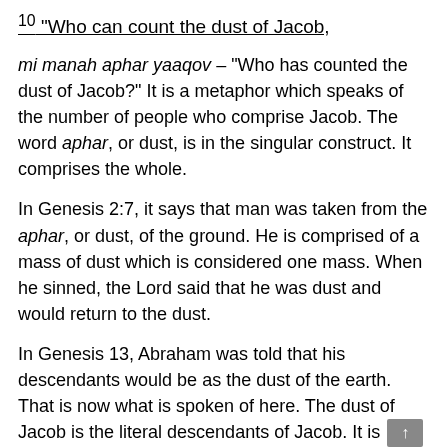10 “Who can count the dust of Jacob,
mi manah aphar yaaqov – “Who has counted the dust of Jacob?” It is a metaphor which speaks of the number of people who comprise Jacob. The word aphar, or dust, is in the singular construct. It comprises the whole.
In Genesis 2:7, it says that man was taken from the aphar, or dust, of the ground. He is comprised of a mass of dust which is considered one mass. When he sinned, the Lord said that he was dust and would return to the dust.
In Genesis 13, Abraham was told that his descendants would be as the dust of the earth. That is now what is spoken of here. The dust of Jacob is the literal descendants of Jacob. It is one people. That is the specific. Balaam next goes to